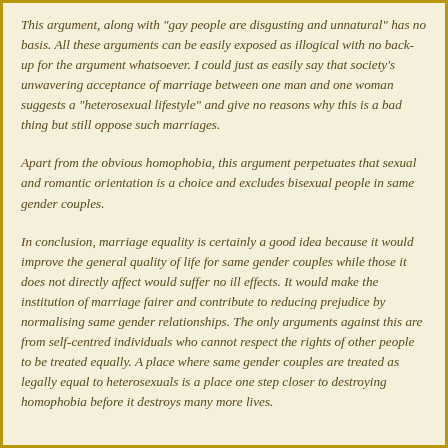This argument, along with "gay people are disgusting and unnatural" has no basis. All these arguments can be easily exposed as illogical with no back-up for the argument whatsoever. I could just as easily say that society's unwavering acceptance of marriage between one man and one woman suggests a "heterosexual lifestyle" and give no reasons why this is a bad thing but still oppose such marriages.
Apart from the obvious homophobia, this argument perpetuates that sexual and romantic orientation is a choice and excludes bisexual people in same gender couples.
In conclusion, marriage equality is certainly a good idea because it would improve the general quality of life for same gender couples while those it does not directly affect would suffer no ill effects. It would make the institution of marriage fairer and contribute to reducing prejudice by normalising same gender relationships. The only arguments against this are from self-centred individuals who cannot respect the rights of other people to be treated equally. A place where same gender couples are treated as legally equal to heterosexuals is a place one step closer to destroying homophobia before it destroys many more lives.